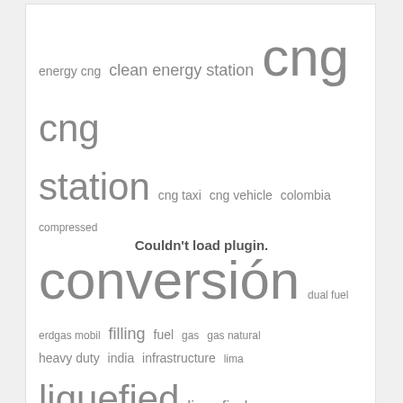[Figure (infographic): Word cloud with natural gas vehicle related terms. Largest words: natural gas, cng, station, vehicle, vehicles, conversión, liquefied. Smaller words include: energy cng, clean energy station, cng station, cng taxi, cng vehicle, colombia, compressed, dual fuel, erdgas mobil, filling, fuel, gas, gas natural, heavy duty, india, infrastructure, lima, liquefied natural gas, lng ship, lng vessel, natural gas station, ngv, ngv industry, oem, peru, refuelling, Spain, technology, transportation, united states, workshop, workshops.]
Couldn't load plugin.